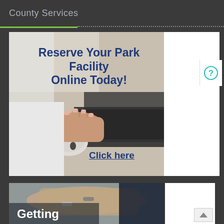County Services
[Figure (photo): Advertisement banner with a person using a computer mouse and laptop, with text 'Reserve Your Park Facility Online Today!' and 'Click here']
Reserve Your Park Facility Online Today!
Click here
[Figure (photo): Photo of two hands with wedding rings, partially visible, with large white text 'Getting' and implied 'Married' below]